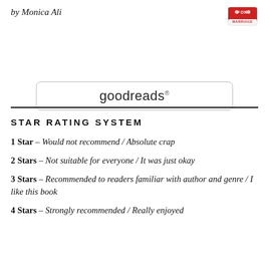by Monica Ali
[Figure (logo): For Marriage logo badge - red and white shield/badge design with text FOR MARRIAGE]
[Figure (logo): Goodreads logo in a rounded rectangle border]
STAR RATING SYSTEM
1 Star - Would not recommend / Absolute crap
2 Stars - Not suitable for everyone / It was just okay
3 Stars - Recommended to readers familiar with author and genre / I like this book
4 Stars - Strongly recommended / Really enjoyed